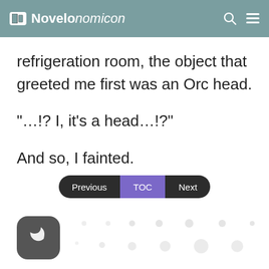Novelo nomicon
refrigeration room, the object that greeted me first was an Orc head.
“…!? I, it’s a head…!?”
And so, I fainted.
[Figure (other): Navigation bar with three buttons: Previous (dark), TOC (purple), Next (dark)]
[Figure (other): Dark mode toggle button - rounded square icon with crescent moon symbol]